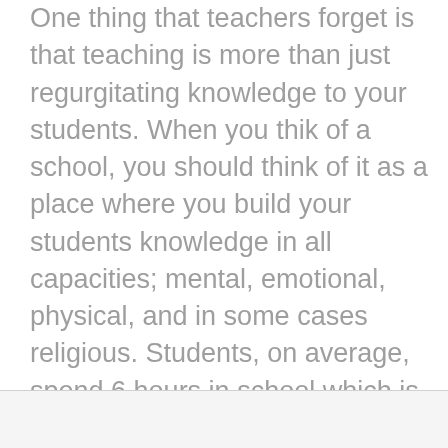One thing that teachers forget is that teaching is more than just regurgitating knowledge to your students. When you thik of a school, you should think of it as a place where you build your students knowledge in all capacities; mental, emotional, physical, and in some cases religious. Students, on average, spend 6 hours in school which is equivalent to 1,000 hours per year.